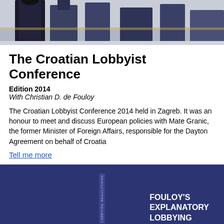[Figure (photo): Photograph showing people in formal attire, partially visible, with dark draping fabric visible. Top portion of an event or conference photo.]
The Croatian Lobbyist Conference
Edition 2014
With Christian D. de Fouloy
The Croatian Lobbyist Conference 2014 held in Zagreb. It was an honour to meet and discuss European policies with Mate Granic, the former Minister of Foreign Affairs, responsible for the Dayton Agreement on behalf of Croatia
Tell me more
[Figure (photo): Dark navy blue panel showing a book cover or report titled FOULOY'S EXPLANATORY LOBBYING, with a book spine visible on the left side.]